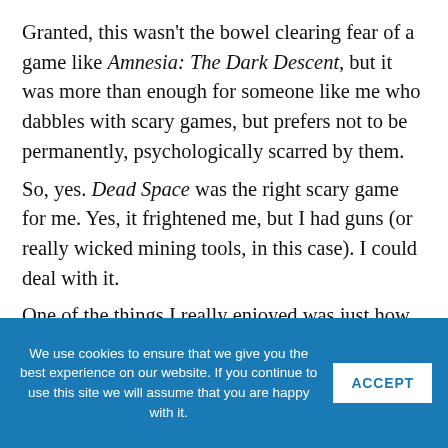Granted, this wasn't the bowel clearing fear of a game like Amnesia: The Dark Descent, but it was more than enough for someone like me who dabbles with scary games, but prefers not to be permanently, psychologically scarred by them.
So, yes. Dead Space was the right scary game for me. Yes, it frightened me, but I had guns (or really wicked mining tools, in this case). I could deal with it.
One of the things I really enjoyed was just how
We use cookies to ensure that we give you the best experience on our website. If you continue to use this site we will assume that you are happy with it.